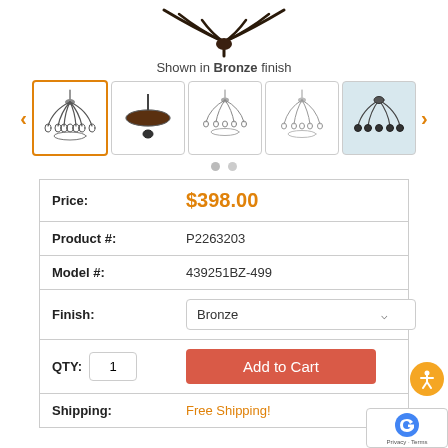[Figure (photo): Top portion of a bronze chandelier with multiple arms, shown cropped at top]
Shown in Bronze finish
[Figure (photo): Row of 5 product thumbnail images of chandelier from different angles. First thumbnail is selected (outlined in orange).]
| Price: | $398.00 |
| Product #: | P2263203 |
| Model #: | 439251BZ-499 |
| Finish: | Bronze |
| QTY: 1 | Add to Cart |
| Shipping: | Free Shipping! |